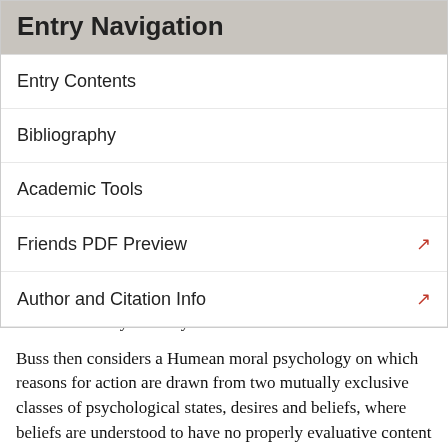Entry Navigation
Entry Contents
Bibliography
Academic Tools
Friends PDF Preview
Author and Citation Info
desires actuate your body.
Buss then considers a Humean moral psychology on which reasons for action are drawn from two mutually exclusive classes of psychological states, desires and beliefs, where beliefs are understood to have no properly evaluative content (e.g., Smith, 1987). Since such a moral psychology has no room for evaluative beliefs, and since intentional action requires one particular sort of evaluative belief, Humean moral psychology is, she concludes, incompatible with there being intentional actions. It evidently follows that a theory of practical